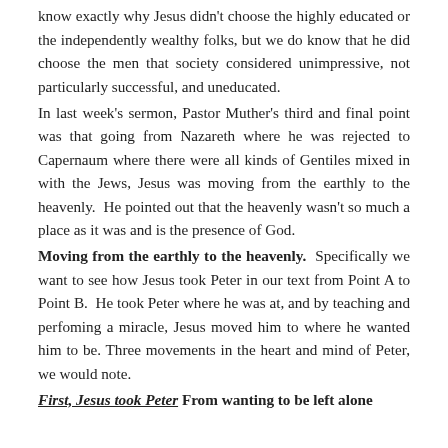know exactly why Jesus didn't choose the highly educated or the independently wealthy folks, but we do know that he did choose the men that society considered unimpressive, not particularly successful, and uneducated.
In last week's sermon, Pastor Muther's third and final point was that going from Nazareth where he was rejected to Capernaum where there were all kinds of Gentiles mixed in with the Jews, Jesus was moving from the earthly to the heavenly. He pointed out that the heavenly wasn't so much a place as it was and is the presence of God.
Moving from the earthly to the heavenly. Specifically we want to see how Jesus took Peter in our text from Point A to Point B. He took Peter where he was at, and by teaching and perfoming a miracle, Jesus moved him to where he wanted him to be. Three movements in the heart and mind of Peter, we would note.
First, Jesus took Peter From wanting to be left alone